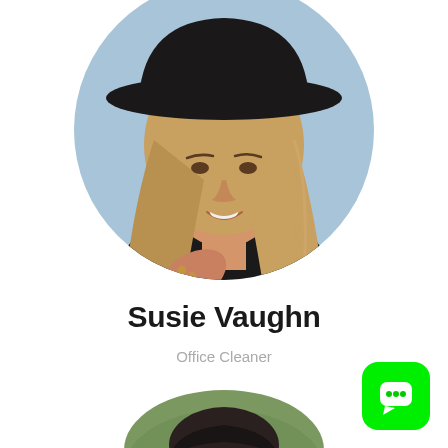[Figure (photo): Circular profile photo of a young woman with long blonde hair wearing a black wide-brim hat, smiling and raising her hand with rings on fingers, against a light blue sky background.]
Susie Vaughn
Office Cleaner
[Figure (photo): Partially visible circular profile photo of a young man with dark styled hair, against a blurred green/brown background, cropped at bottom of page.]
[Figure (logo): Green rounded square icon with a white chat/speech bubble icon inside, representing a messaging app.]